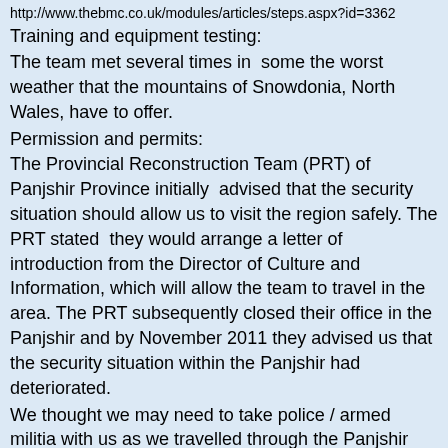http://www.thebmc.co.uk/modules/articles/steps.aspx?id=3362
Training and equipment testing:
The team met several times in some the worst weather that the mountains of Snowdonia, North Wales, have to offer.
Permission and permits:
The Provincial Reconstruction Team (PRT) of Panjshir Province initially advised that the security situation should allow us to visit the region safely. The PRT stated they would arrange a letter of introduction from the Director of Culture and Information, which will allow the team to travel in the area. The PRT subsequently closed their office in the Panjshir and by November 2011 they advised us that the security situation within the Panjshir had deteriorated.
We thought we may need to take police / armed militia with us as we travelled through the Panjshir valley. We had to do this when we climbed Noshaq. In the end we decided it would be safer to travel under the radar without police or military escorts. 8
Fund-raising
We applied for grants from the following organisations: